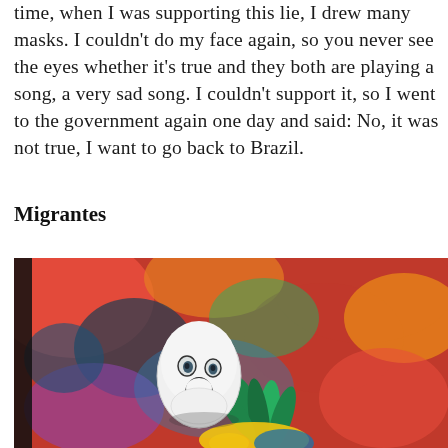time, when I was supporting this lie, I drew many masks. I couldn't do my face again, so you never see the eyes whether it's true and they both are playing a song, a very sad song. I couldn't support it, so I went to the government again one day and said: No, it was not true, I want to go back to Brazil.
Migrantes
[Figure (illustration): A colorful painting depicting a white mask with dark facial features (eyes, mouth) against a vivid background of red, blue, green, orange and yellow abstract colors. Below the mask are green leaf-like shapes and what appears to be yellow and blue cloth or fabric, suggesting a Brazilian flag motif.]